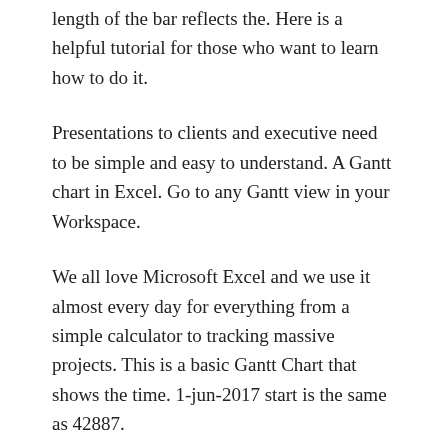length of the bar reflects the. Here is a helpful tutorial for those who want to learn how to do it.
Presentations to clients and executive need to be simple and easy to understand. A Gantt chart in Excel. Go to any Gantt view in your Workspace.
We all love Microsoft Excel and we use it almost every day for everything from a simple calculator to tracking massive projects. This is a basic Gantt Chart that shows the time. 1-jun-2017 start is the same as 42887.